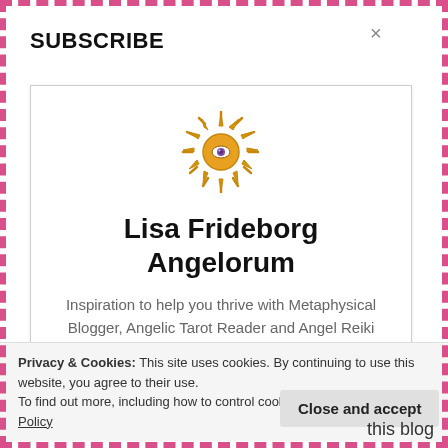SUBSCRIBE
[Figure (illustration): Sun/star icon with an eye in the center, gold/amber colored rays]
Lisa Frideborg Angelorum
Inspiration to help you thrive with Metaphysical Blogger, Angelic Tarot Reader and Angel Reiki Healer Lisa Frideborg. Free monthly newsletter. The weekly paid subscription includes a pick-a-pile message, special offers and more.
Privacy & Cookies: This site uses cookies. By continuing to use this website, you agree to their use.
To find out more, including how to control cookies, see here: Cookie Policy
Close and accept
this blog